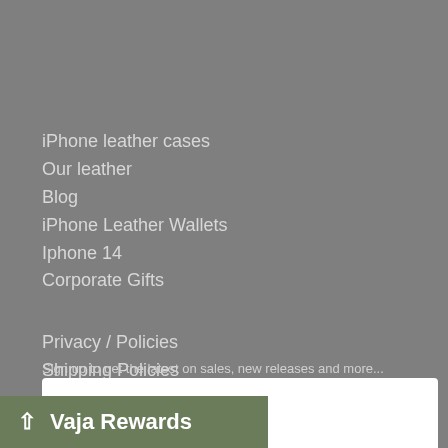iPhone leather cases
Our leather
Blog
iPhone Leather Wallets
Iphone 14
Corporate Gifts
Privacy / Policies
Shipping Policies
Terms of service
Contact Us
Returns
Vaja Rewards
Sign up to get the latest on sales, new releases and more...
dress
Vaja Rewards